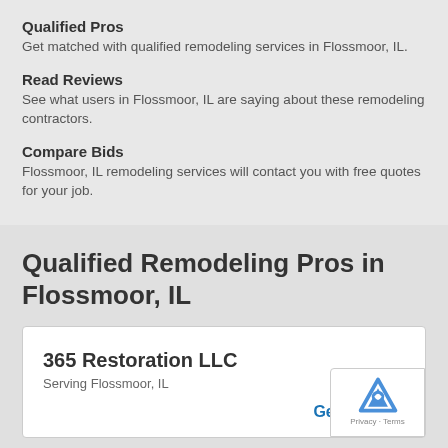Qualified Pros
Get matched with qualified remodeling services in Flossmoor, IL.
Read Reviews
See what users in Flossmoor, IL are saying about these remodeling contractors.
Compare Bids
Flossmoor, IL remodeling services will contact you with free quotes for your job.
Qualified Remodeling Pros in Flossmoor, IL
365 Restoration LLC
Serving Flossmoor, IL
Get Free Qu…